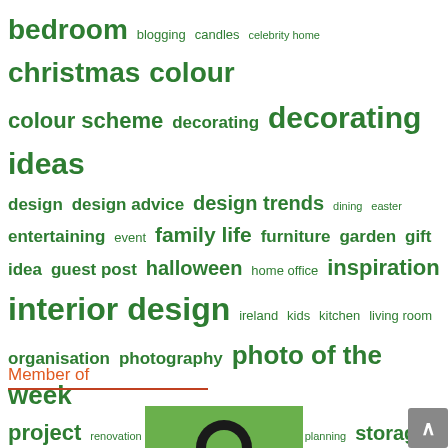[Figure (infographic): Tag cloud with green-colored words of varying sizes representing blog categories: bedroom, blogging, candles, celebrity home, christmas, colour, colour scheme, decorating, decorating ideas, design, design advice, design trends, dining, easter, entertaining, event, family life, furniture, garden, gift idea, guest post, halloween, home office, inspiration, interior design, ireland, kids, kitchen, living room, organisation, photography, photo of the week, project, renovation, romance, social media, space planning, storage, summer]
Member of